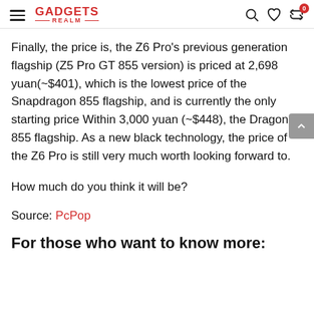GADGETS REALM
Finally, the price is, the Z6 Pro’s previous generation flagship (Z5 Pro GT 855 version) is priced at 2,698 yuan(~$401), which is the lowest price of the Snapdragon 855 flagship, and is currently the only starting price Within 3,000 yuan (~$448), the Dragon 855 flagship. As a new black technology, the price of the Z6 Pro is still very much worth looking forward to.
How much do you think it will be?
Source: PcPop
For those who want to know more: